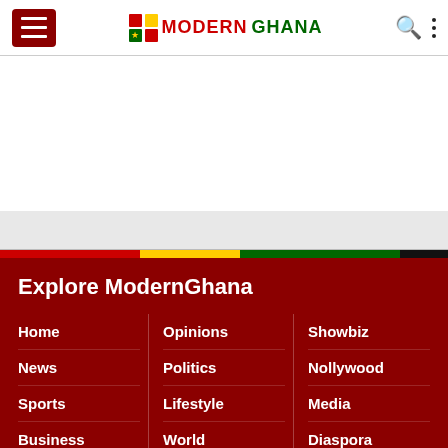Modern Ghana
Explore ModernGhana
Home
News
Sports
Business
Opinions
Politics
Lifestyle
World
Showbiz
Nollywood
Media
Diaspora